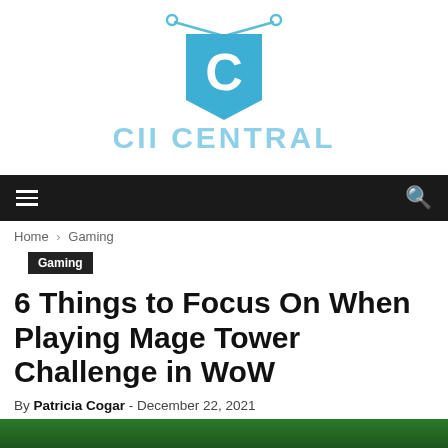[Figure (logo): CII Central logo: a blue pennant/banner with letter C, and the text CII CENTRAL in light blue block letters below]
Navigation bar with hamburger menu and search icon
Home › Gaming
Gaming
6 Things to Focus On When Playing Mage Tower Challenge in WoW
By Patricia Cogar - December 22, 2021
[Figure (photo): Partial bottom image, dark green toned gaming screenshot]